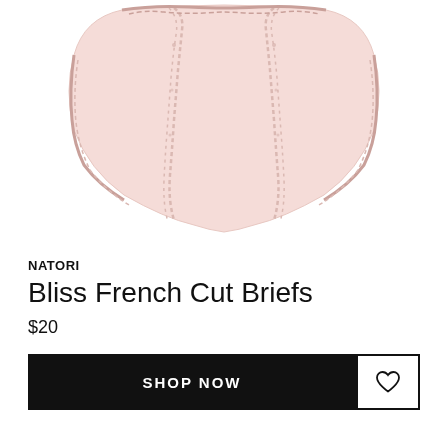[Figure (photo): Light pink Natori Bliss French Cut Briefs underwear shown flat on white background, featuring lace/ruffle trim details along the sides and waistband.]
NATORI
Bliss French Cut Briefs
$20
SHOP NOW